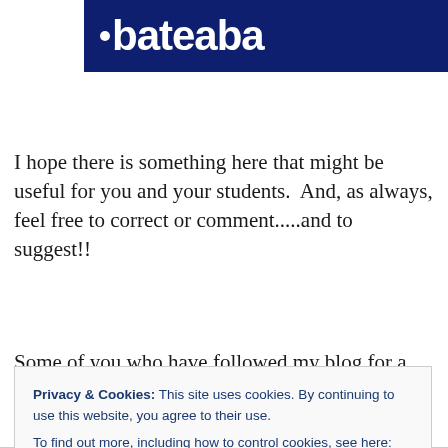[Figure (logo): Dark navy blue banner with white bold text reading '·bateaba' with a bullet dot before the text]
I hope there is something here that might be useful for you and your students.  And, as always, feel free to correct or comment.....and to suggest!!
Some of you who have followed my blog for a while might
Privacy & Cookies: This site uses cookies. By continuing to use this website, you agree to their use.
To find out more, including how to control cookies, see here: Cookie Policy
Close and accept